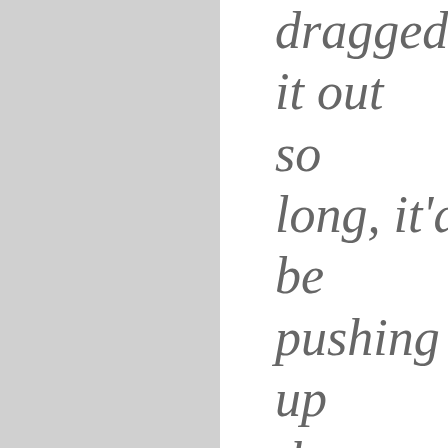dragged it out so long, it'd be pushing up the daisies! It's
check me out on: LinkedIn, Github
@DougHu